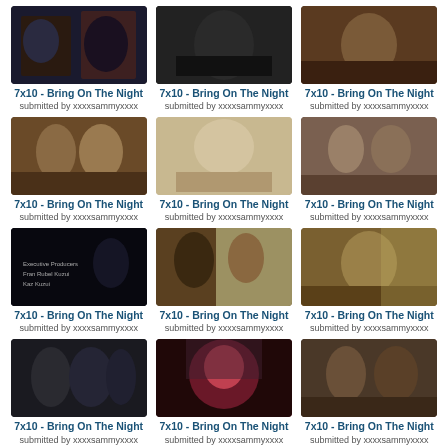[Figure (photo): TV screenshot thumbnail 1 - dark scene]
7x10 - Bring On The Night
submitted by xxxxsammyxxxx
[Figure (photo): TV screenshot thumbnail 2 - dark scene]
7x10 - Bring On The Night
submitted by xxxxsammyxxxx
[Figure (photo): TV screenshot thumbnail 3 - dark scene]
7x10 - Bring On The Night
submitted by xxxxsammyxxxx
[Figure (photo): TV screenshot thumbnail 4 - two women]
7x10 - Bring On The Night
submitted by xxxxsammyxxxx
[Figure (photo): TV screenshot thumbnail 5 - blonde woman]
7x10 - Bring On The Night
submitted by xxxxsammyxxxx
[Figure (photo): TV screenshot thumbnail 6 - two women]
7x10 - Bring On The Night
submitted by xxxxsammyxxxx
[Figure (photo): TV screenshot thumbnail 7 - dark credits scene]
7x10 - Bring On The Night
submitted by xxxxsammyxxxx
[Figure (photo): TV screenshot thumbnail 8 - indoor scene]
7x10 - Bring On The Night
submitted by xxxxsammyxxxx
[Figure (photo): TV screenshot thumbnail 9 - man in suit]
7x10 - Bring On The Night
submitted by xxxxsammyxxxx
[Figure (photo): TV screenshot thumbnail 10 - group outside]
7x10 - Bring On The Night
submitted by xxxxsammyxxxx
[Figure (photo): TV screenshot thumbnail 11 - close-up red hair]
7x10 - Bring On The Night
submitted by xxxxsammyxxxx
[Figure (photo): TV screenshot thumbnail 12 - indoor scene]
7x10 - Bring On The Night
submitted by xxxxsammyxxxx